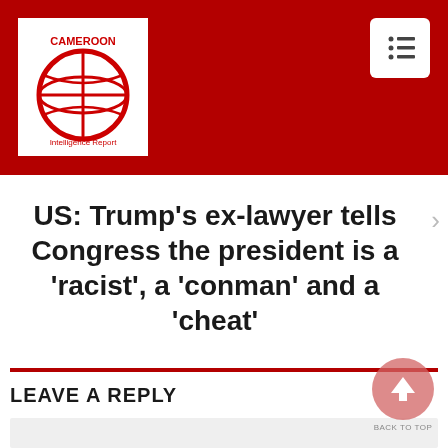Cameroon Intelligence Report
US: Trump’s ex-lawyer tells Congress the president is a ‘racist’, a ‘conman’ and a ‘cheat’
LEAVE A REPLY